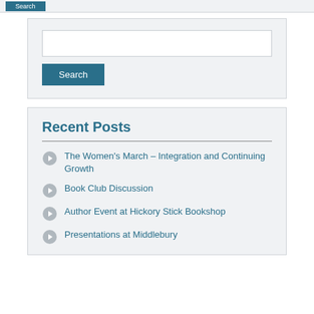[Figure (screenshot): Top bar with a teal/blue button partially visible at top of page]
[Figure (screenshot): Search widget with text input box and Search button]
Recent Posts
The Women's March – Integration and Continuing Growth
Book Club Discussion
Author Event at Hickory Stick Bookshop
Presentations at Middlebury